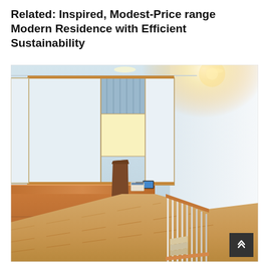Related: Inspired, Modest-Price range Modern Residence with Efficient Sustainability
[Figure (photo): Interior photo of a modern home office space featuring a long wooden built-in desk with cabinets, a wooden chair, translucent panel dividers/partitions, light wood flooring, stair railing on the right side, and a bright white wall. Natural light comes from recessed lighting above and through frosted panels.]